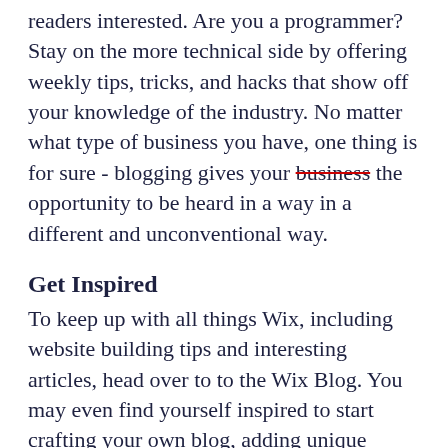readers interested. Are you a programmer? Stay on the more technical side by offering weekly tips, tricks, and hacks that show off your knowledge of the industry. No matter what type of business you have, one thing is for sure - blogging gives your business the opportunity to be heard in a way in a different and unconventional way.
Get Inspired
To keep up with all things Wix, including website building tips and interesting articles, head over to to the Wix Blog. You may even find yourself inspired to start crafting your own blog, adding unique content, and stunning images and videos. Start creating your